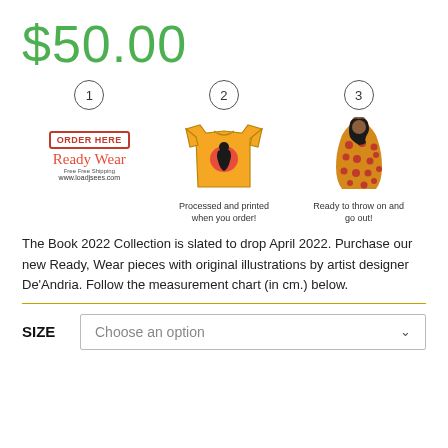$50.00
[Figure (infographic): Three-step process infographic showing: Step 1 - Order Here badge with script name and website, Step 2 - Yellow t-shirt with red/black graphic and caption 'Processed and printed when you order!', Step 3 - Person wearing patterned garment with caption 'Ready to throw on and go out!']
The Book 2022 Collection is slated to drop April 2022. Purchase our new Ready, Wear pieces with original illustrations by artist designer De'Andria. Follow the measurement chart (in cm.) below.
SIZE   Choose an option